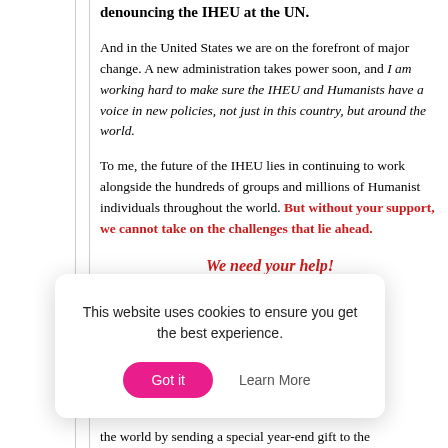denouncing the IHEU at the UN.
And in the United States we are on the forefront of major change. A new administration takes power soon, and I am working hard to make sure the IHEU and Humanists have a voice in new policies, not just in this country, but around the world.
To me, the future of the IHEU lies in continuing to work alongside the hundreds of groups and millions of Humanist individuals throughout the world. But without your support, we cannot take on the challenges that lie ahead.
We need your help!
the world by sending a special year-end gift to the